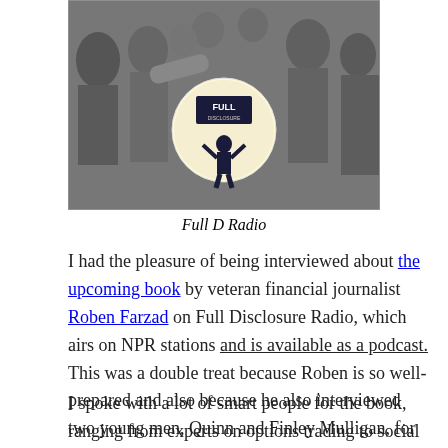[Figure (photo): Black and white photograph of a crowd of people, with a circular logo in the center showing a silhouette of a person holding up a sign that reads 'FULL DISCLOSURE']
Full D Radio
I had the pleasure of being interviewed about the upcoming book by veteran financial journalist Roben Farzad on Full Disclosure Radio, which airs on NPR stations and is available as a podcast. This was a double treat because Roben is so well-prepared and also because he also interviewed two young men, Quinn and Finley Mulligan, for the same segment.
I spoke with a lot of smart people for the book, ranging from experts on options trading to social psychology to short selling to problem gambling to marketing to